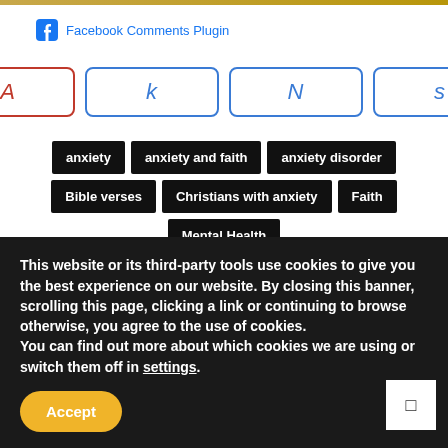Facebook Comments Plugin
[Figure (screenshot): Navigation tab bar with four tabs: A (red, active), k, N, s (all blue outlined)]
anxiety
anxiety and faith
anxiety disorder
Bible verses
Christians with anxiety
Faith
Mental Health
[Figure (screenshot): Social share icons row with 5 icon boxes and count 0]
This website or its third-party tools use cookies to give you the best experience on our website. By closing this banner, scrolling this page, clicking a link or continuing to browse otherwise, you agree to the use of cookies.
You can find out more about which cookies we are using or switch them off in settings.
Accept